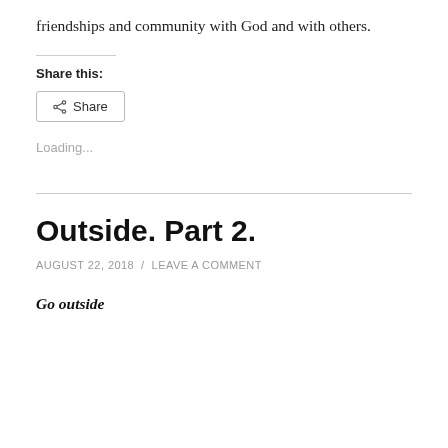friendships and community with God and with others.
Share this:
[Figure (other): Share button with share icon]
Loading...
Outside. Part 2.
AUGUST 22, 2018 / LEAVE A COMMENT
Go outside